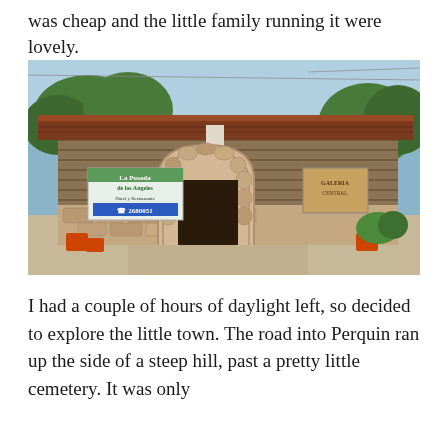was cheap and the little family running it were lovely.
[Figure (photo): Exterior of La Posada de los Angeles hotel and restaurant in Perquin — a rustic log and stone building with a metal roof, arched stone entrance, a sign reading La Posada de los Angeles, Hotel y Restaurante with a phone number, and orange buckets near the entrance. Trees visible in the background under a blue sky.]
I had a couple of hours of daylight left, so decided to explore the little town. The road into Perquin ran up the side of a steep hill, past a pretty little cemetery. It was only